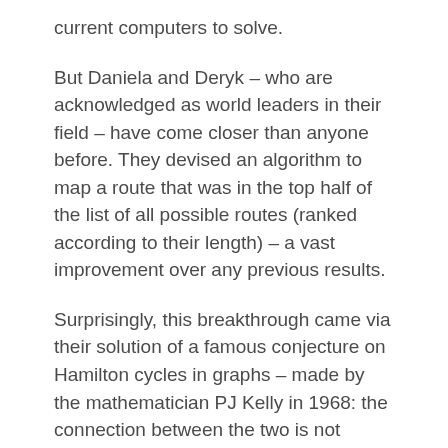current computers to solve.
But Daniela and Deryk – who are acknowledged as world leaders in their field – have come closer than anyone before. They devised an algorithm to map a route that was in the top half of the list of all possible routes (ranked according to their length) – a vast improvement over any previous results.
Surprisingly, this breakthrough came via their solution of a famous conjecture on Hamilton cycles in graphs – made by the mathematician PJ Kelly in 1968: the connection between the two is not obvious and was, therefore, unexpected.
In graph theory, the vertices or nodes represent cities and the edges between them represent possible routes the salesman could take.